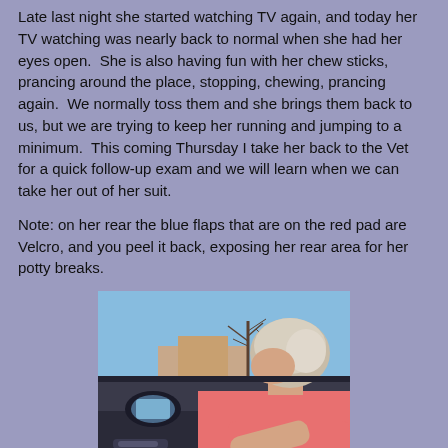Late last night she started watching TV again, and today her TV watching was nearly back to normal when she had her eyes open.  She is also having fun with her chew sticks, prancing around the place, stopping, chewing, prancing again.  We normally toss them and she brings them back to us, but we are trying to keep her running and jumping to a minimum.  This coming Thursday I take her back to the Vet for a quick follow-up exam and we will learn when we can take her out of her suit.
Note: on her rear the blue flaps that are on the red pad are Velcro, and you peel it back, exposing her rear area for her potty breaks.
[Figure (photo): An elderly woman with white/gray hair wearing a pink shirt, sitting in a car and looking out the passenger window. Outside the window are bare trees, a clear blue sky, and a building visible in the background. A side mirror is visible on the car door.]